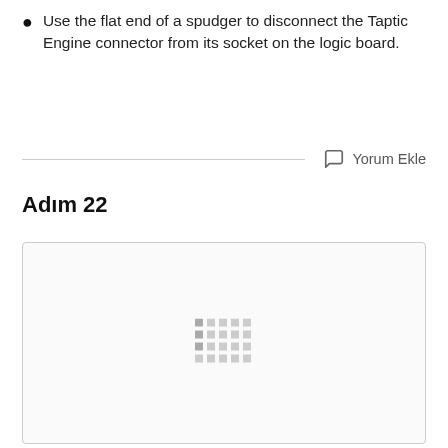Use the flat end of a spudger to disconnect the Taptic Engine connector from its socket on the logic board.
Yorum Ekle
Adım 22
[Figure (photo): A mostly blank image placeholder with a small loading indicator (grid of dots) in the center, indicating an image is loading for Step 22.]